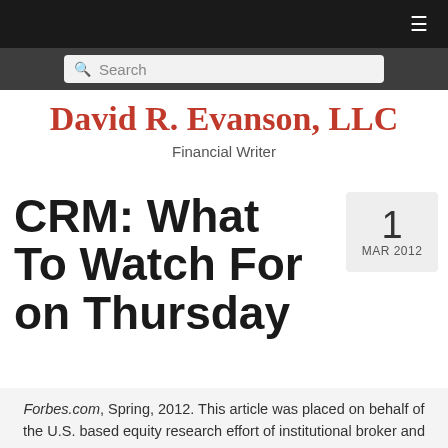David R. Evanson, LLC — Financial Writer
David R. Evanson, LLC
Financial Writer
CRM: What To Watch For on Thursday
1 MAR 2012
Forbes.com, Spring, 2012. This article was placed on behalf of the U.S. based equity research effort of institutional broker and investment bank Canaccord Genuity. It was part of a